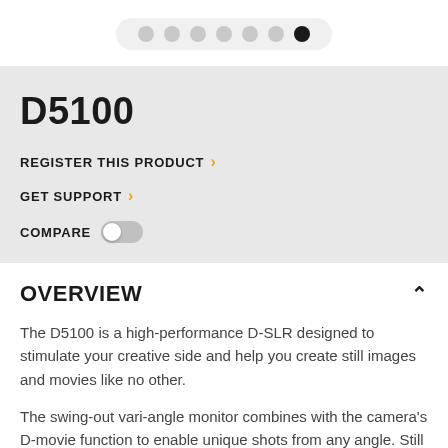[Figure (other): Pagination dots indicator showing 7 dots, the 7th (last) dot is filled dark/black, the rest are light grey, arranged in a pill-shaped container]
D5100
REGISTER THIS PRODUCT >
GET SUPPORT >
COMPARE (toggle switch off)
OVERVIEW
The D5100 is a high-performance D-SLR designed to stimulate your creative side and help you create still images and movies like no other.
The swing-out vari-angle monitor combines with the camera's D-movie function to enable unique shots from any angle. Still images or movies can be shot using a